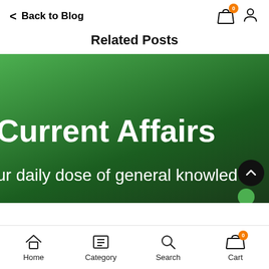Back to Blog
Related Posts
[Figure (illustration): Green gradient background blog card image with text 'Current Affairs' and 'ur daily dose of general knowled' (truncated), with a dark scroll-to-top button at bottom right]
Home  Category  Search  Cart